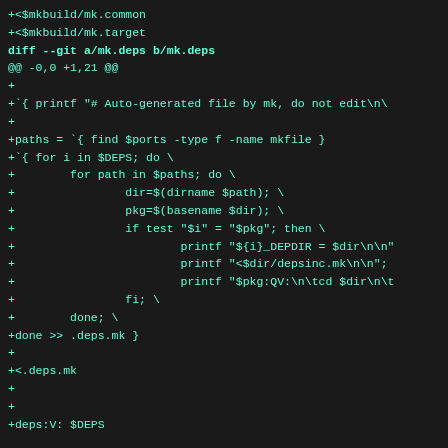+<$mkbuild/mk.common
+<$mkbuild/mk.target
diff --git a/mk.deps b/mk.deps
@@ -0,0 +1,21 @@
+
+`{ printf "# Auto-generated file by mk, do not edit\n\
+
+paths = `{ find $ports -type f -name mkfile }
+`{ for i in $DEPS; do \
+        for path in $paths; do \
+                dir=$(dirname $path); \
+                pkg=$(basename $dir); \
+                if test "$i" = "$pkg"; then \
+                        printf "${i}_DEPDIR = $dir\n\n"
+                        printf "<$dir/depsinc.mk\n\n";
+                        printf "$pkg:QV:\n\tcd $dir\n\t
+                fi; \
+        done; \
+done >> .deps.mk }
+
+<.deps.mk
+
+
+deps:V: $DEPS